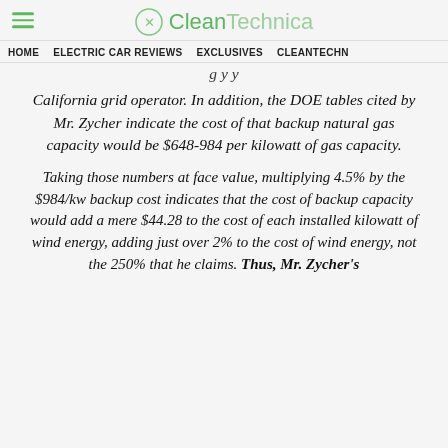CleanTechnica
HOME   ELECTRIC CAR REVIEWS   EXCLUSIVES   CLEANTECHN...
California grid operator. In addition, the DOE tables cited by Mr. Zycher indicate the cost of that backup natural gas capacity would be $648-984 per kilowatt of gas capacity.
Taking those numbers at face value, multiplying 4.5% by the $984/kw backup cost indicates that the cost of backup capacity would add a mere $44.28 to the cost of each installed kilowatt of wind energy, adding just over 2% to the cost of wind energy, not the 250% that he claims. Thus, Mr. Zycher's